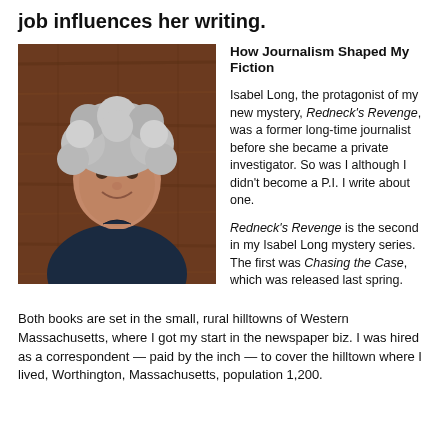Livingstone who talks about how her former job influences her writing.
[Figure (photo): Portrait photo of a woman with curly gray hair, smiling, wearing a dark navy shirt, against a wooden background.]
How Journalism Shaped My Fiction
Isabel Long, the protagonist of my new mystery, Redneck's Revenge, was a former long-time journalist before she became a private investigator. So was I although I didn't become a P.I. I write about one.
Redneck's Revenge is the second in my Isabel Long mystery series. The first was Chasing the Case, which was released last spring.
Both books are set in the small, rural hilltowns of Western Massachusetts, where I got my start in the newspaper biz. I was hired as a correspondent — paid by the inch — to cover the hilltown where I lived, Worthington, Massachusetts, population 1,200.